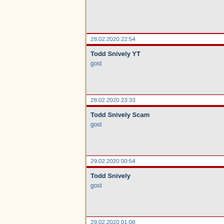| Timestamp | Entry |
| --- | --- |
| 28.02.2020 22:54 | Todd Snively YT
gost |
| 28.02.2020 23:33 | Todd Snively Scam
gost |
| 29.02.2020 00:54 | Todd Snively
gost |
| 29.02.2020 01:08 | Todd Snively YT
gost |